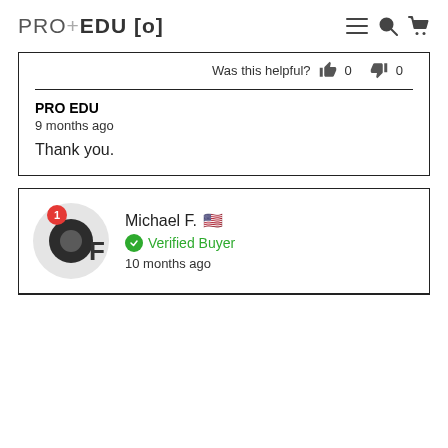PRO+EDU [o]
Was this helpful? 0 0
PRO EDU
9 months ago
Thank you.
Michael F. 🇺🇸
Verified Buyer
10 months ago